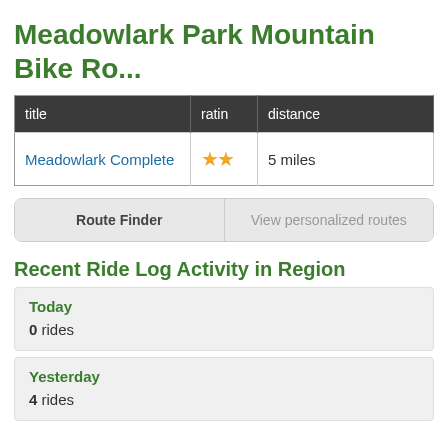Meadowlark Park Mountain Bike Ro...
| title | ratin | distance |
| --- | --- | --- |
| Meadowlark Complete | ★★ | 5 miles |
Route Finder | View personalized routes
Recent Ride Log Activity in Region
Today
0 rides
Yesterday
4 rides